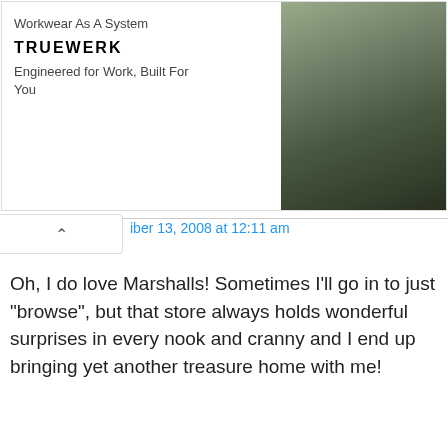[Figure (other): TRUEWERK advertisement banner: 'Workwear As A System / Engineered for Work, Built For You' with photo of construction worker on right side]
iber 13, 2008 at 12:11 am
Oh, I do love Marshalls! Sometimes I'll go in to just "browse", but that store always holds wonderful surprises in every nook and cranny and I end up bringing yet another treasure home with me!
Reply
Christie says:
December 14, 2008 at 11:09 pm
I have shopped at T J Maxx many times and love their